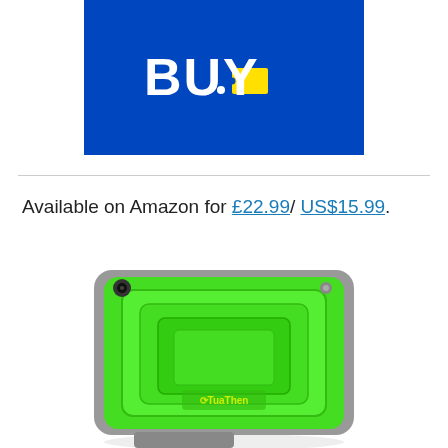[Figure (logo): Best Buy logo on blue background with yellow price tag]
Available on Amazon for £22.99/ US$15.99.
[Figure (photo): Green rugged tablet case (TuaThen brand) with grey bumper edges, viewed at an angle showing back panel]